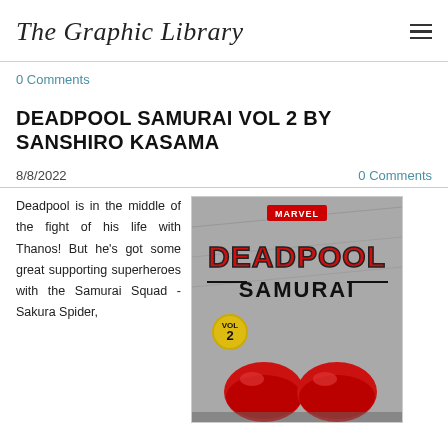The Graphic Library
0 Comments
DEADPOOL SAMURAI VOL 2 BY SANSHIRO KASAMA
8/8/2022    0 Comments
Deadpool is in the middle of the fight of his life with Thanos! But he's got some great supporting superheroes with the Samurai Squad - Sakura Spider,
[Figure (photo): Book cover of Deadpool Samurai Vol 2 manga, showing Deadpool's red boots/feet, with 'DEADPOOL SAMURAI' title in large stylized letters, Marvel logo at top, and a gray illustrated background.]